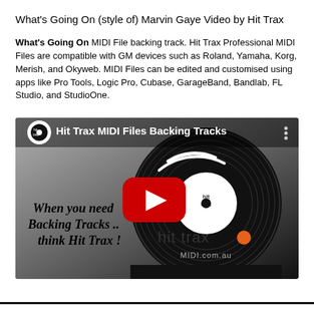What's Going On (style of) Marvin Gaye Video by Hit Trax
What's Going On MIDI File backing track. Hit Trax Professional MIDI Files are compatible with GM devices such as Roland, Yamaha, Korg, Merish, and Okyweb. MIDI Files can be edited and customised using apps like Pro Tools, Logic Pro, Cubase, GarageBand, Bandlab, FL Studio, and StudioOne.
[Figure (screenshot): YouTube video thumbnail for Hit Trax MIDI Files Backing Tracks. Shows a vinyl record with the Hit Trax logo and text 'When you need Backing Tracks .. think Hit Trax !' with a YouTube play button in center. Hit Trax logo with orange dot and MIDI.com.au text at bottom.]